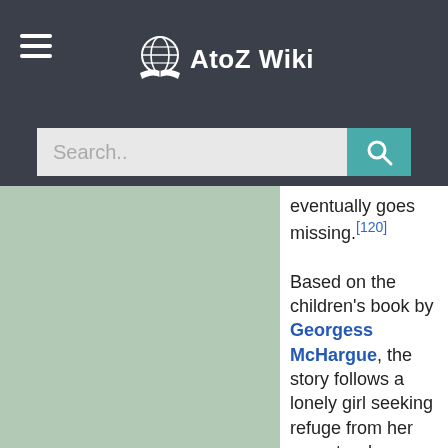AtoZ Wiki
eventually goes missing.[120]

Based on the children's book by Georgess McHargue, the story follows a lonely girl seeking refuge from her parents who